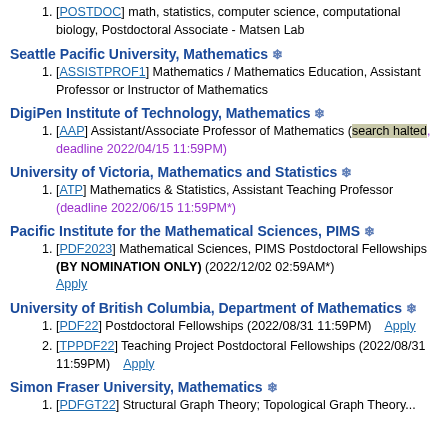1. [POSTDOC] math, statistics, computer science, computational biology, Postdoctoral Associate - Matsen Lab
Seattle Pacific University, Mathematics ❄
1. [ASSISTPROF1] Mathematics / Mathematics Education, Assistant Professor or Instructor of Mathematics
DigiPen Institute of Technology, Mathematics ❄
1. [AAP] Assistant/Associate Professor of Mathematics (search halted, deadline 2022/04/15 11:59PM)
University of Victoria, Mathematics and Statistics ❄
1. [ATP] Mathematics & Statistics, Assistant Teaching Professor (deadline 2022/06/15 11:59PM*)
Pacific Institute for the Mathematical Sciences, PIMS ❄
1. [PDF2023] Mathematical Sciences, PIMS Postdoctoral Fellowships (BY NOMINATION ONLY) (2022/12/02 02:59AM*) Apply
University of British Columbia, Department of Mathematics ❄
1. [PDF22] Postdoctoral Fellowships (2022/08/31 11:59PM) Apply
2. [TPPDF22] Teaching Project Postdoctoral Fellowships (2022/08/31 11:59PM) Apply
Simon Fraser University, Mathematics ❄
1. [PDFGT22] Structural Graph Theory; Topological Graph Theory...